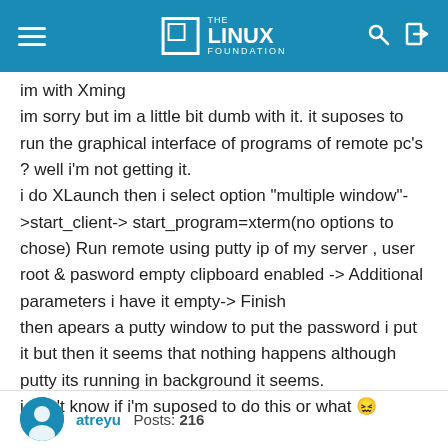The Linux Foundation
im with Xming
im sorry but im a little bit dumb with it. it suposes to run the graphical interface of programs of remote pc's ? well i'm not getting it.
i do XLaunch then i select option "multiple window"->start_client-> start_program=xterm(no options to chose) Run remote using putty ip of my server , user root & pasword empty clipboard enabled -> Additional parameters i have it empty-> Finish
then apears a putty window to put the password i put it but then it seems that nothing happens although putty its running in background it seems.
i don't know if i'm suposed to do this or what 😖
atreyu   Posts: 216